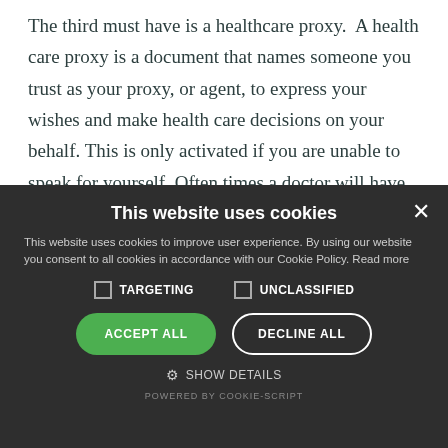The third must have is a healthcare proxy. A health care proxy is a document that names someone you trust as your proxy, or agent, to express your wishes and make health care decisions on your behalf. This is only activated if you are unable to speak for yourself. Often times a doctor will have to certify that you are incapacitated before your proxy starts
[Figure (screenshot): Cookie consent dialog overlay with dark background. Title: 'This website uses cookies'. Body text about cookie policy. Checkboxes for TARGETING and UNCLASSIFIED. Buttons: ACCEPT ALL (green) and DECLINE ALL (outline). SHOW DETAILS link with gear icon. Powered by COOKIE-SCRIPT footer.]